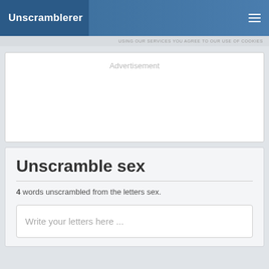Unscramblerer
USING OUR SERVICES YOU AGREE TO OUR USE OF COOKIES
[Figure (other): Advertisement placeholder box]
Unscramble sex
4 words unscrambled from the letters sex.
Write your letters here ...